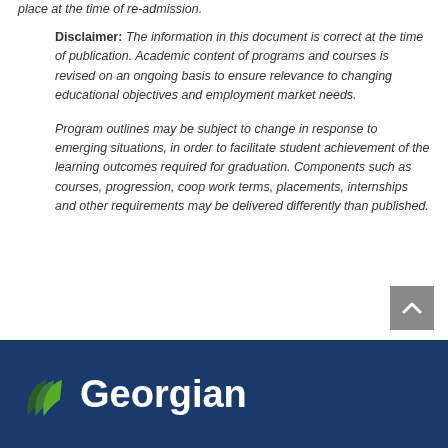place at the time of re-admission.
Disclaimer: The information in this document is correct at the time of publication. Academic content of programs and courses is revised on an ongoing basis to ensure relevance to changing educational objectives and employment market needs.
Program outlines may be subject to change in response to emerging situations, in order to facilitate student achievement of the learning outcomes required for graduation. Components such as courses, progression, coop work terms, placements, internships and other requirements may be delivered differently than published.
Georgian